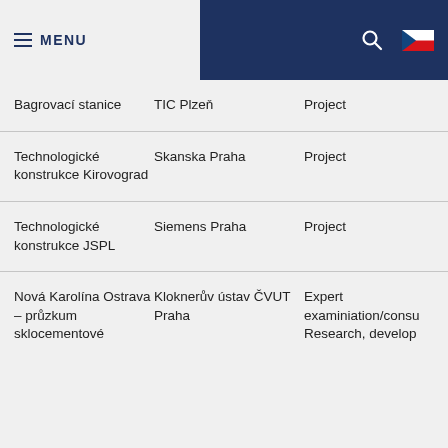MENU
| Project Name | Client | Type |
| --- | --- | --- |
| Bagrovací stanice | TIC Plzeň | Project |
| Technologické konstrukce Kirovograd | Skanska Praha | Project |
| Technologické konstrukce JSPL | Siemens Praha | Project |
| Nová Karolína Ostrava – průzkum sklocementové | Kloknerův ústav ČVUT Praha | Expert examiniation/consu Research, develop |